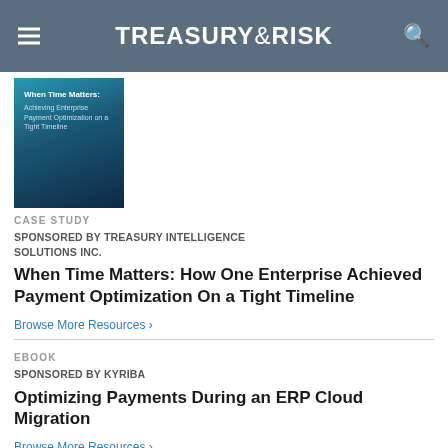TREASURY & RISK
[Figure (illustration): Book cover for 'When Time Matters: Achieving Enterprise Payment Optimization on a Tight Timeline' with dark blue gradient background]
CASE STUDY
SPONSORED BY TREASURY INTELLIGENCE SOLUTIONS INC.
When Time Matters: How One Enterprise Achieved Payment Optimization On a Tight Timeline
Browse More Resources ›
EBOOK
SPONSORED BY KYRIBA
Optimizing Payments During an ERP Cloud Migration
Browse More Resources ›